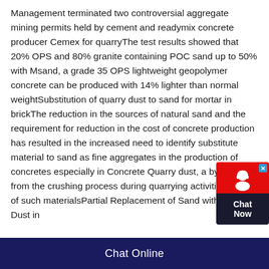Management terminated two controversial aggregate mining permits held by cement and readymix concrete producer Cemex for quarryThe test results showed that 20% OPS and 80% granite containing POC sand up to 50% with Msand, a grade 35 OPS lightweight geopolymer concrete can be produced with 14% lighter than normal weightSubstitution of quarry dust to sand for mortar in brickThe reduction in the sources of natural sand and the requirement for reduction in the cost of concrete production has resulted in the increased need to identify substitute material to sand as fine aggregates in the production of concretes especially in Concrete Quarry dust, a byproduct from the crushing process during quarrying activities is one of such materialsPartial Replacement of Sand with Quarry Dust in
[Figure (other): Chat Now widget with red background, headset icon, and dark bottom panel with 'Chat Now' text]
Chat Online